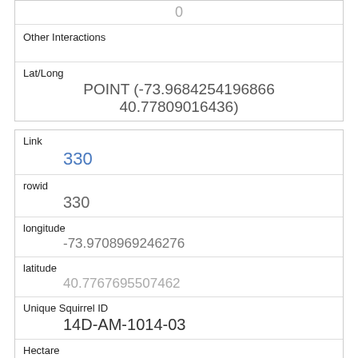| 0 |
| Other Interactions |  |
| Lat/Long | POINT (-73.9684254196866 40.77809016436) |
| Link | 330 |
| rowid | 330 |
| longitude | -73.9708969246276 |
| latitude | 40.7767695507462 |
| Unique Squirrel ID | 14D-AM-1014-03 |
| Hectare | 14D |
| Shift | AM |